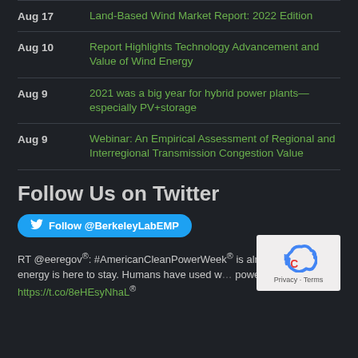Aug 17 | Land-Based Wind Market Report: 2022 Edition
Aug 10 | Report Highlights Technology Advancement and Value of Wind Energy
Aug 9 | 2021 was a big year for hybrid power plants—especially PV+storage
Aug 9 | Webinar: An Empirical Assessment of Regional and Interregional Transmission Congestion Value
Follow Us on Twitter
Follow @BerkeleyLabEMP
RT @eeregov®: #AmericanCleanPowerWeek® is almo... but wind energy is here to stay. Humans have used w... power for thousands… https://t.co/8eHEsyNhaL®